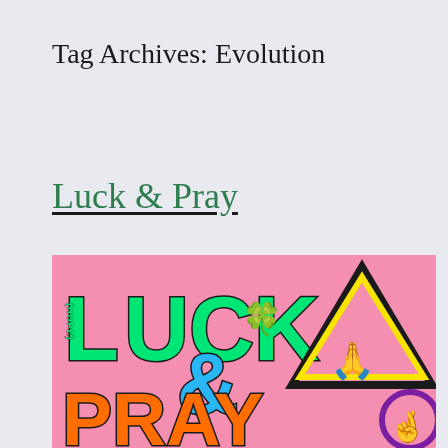Tag Archives: Evolution
Luck & Pray
[Figure (illustration): Colorful graphic with text 'LUCK & PRAY'. The word LUCK is in large green block letters with a four-leaf clover, HOPE written vertically inside the L. An ampersand is in blue. PRAY is in large orange letters. There are emojis: praying hands inside a yellow triangle, and crossed fingers in a purple circle, all on a pink background.]